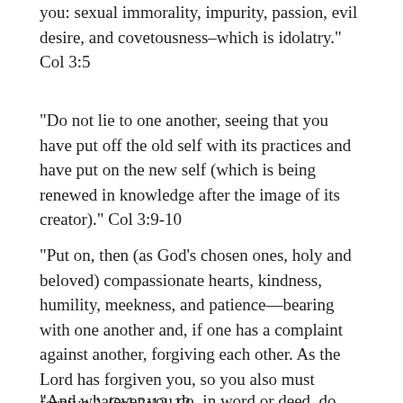you: sexual immorality, impurity, passion, evil desire, and covetousness–which is idolatry.”  Col 3:5
“Do not lie to one another, seeing that you have put off the old self with its practices and have put on the new self (which is being renewed in knowledge after the image of its creator).” Col 3:9-10
“Put on, then (as God’s chosen ones, holy and beloved) compassionate hearts, kindness, humility, meekness, and patience—bearing with one another and, if one has a complaint against another, forgiving each other. As the Lord has forgiven you, so you also must forgive.”  Col 3:12-13
“And whatever you do, in word or deed, do everything